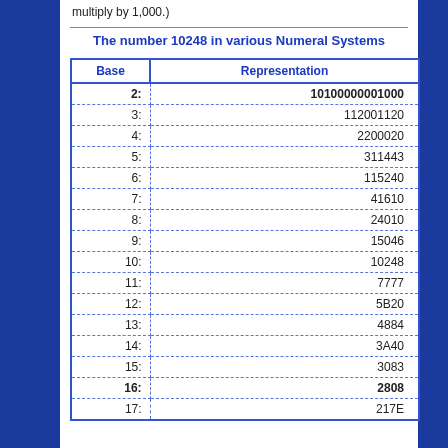multiply by 1,000.)
The number 10248 in various Numeral Systems
| Base | Representation |
| --- | --- |
| 2: | 10100000001000 |
| 3: | 112001120 |
| 4: | 2200020 |
| 5: | 311443 |
| 6: | 115240 |
| 7: | 41610 |
| 8: | 24010 |
| 9: | 15046 |
| 10: | 10248 |
| 11: | 7777 |
| 12: | 5B20 |
| 13: | 4884 |
| 14: | 3A40 |
| 15: | 3083 |
| 16: | 2808 |
| 17: | 217E |